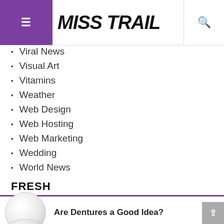MISSTRAL
Viral News
Visual Art
Vitamins
Weather
Web Design
Web Hosting
Web Marketing
Wedding
World News
FRESH
Are Dentures a Good Idea?
The Weirdest Uses for All Precious Metals...